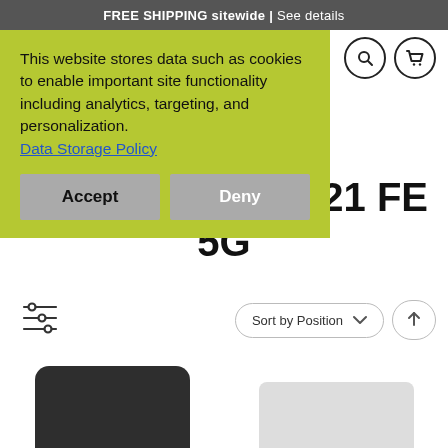FREE SHIPPING sitewide | See details
This website stores data such as cookies to enable important site functionality including analytics, targeting, and personalization.
Data Storage Policy
Accept
Deny
21 FE 5G
Sort by Position
[Figure (screenshot): Two product thumbnails partially visible at bottom of page - one dark/black and one white/light colored]